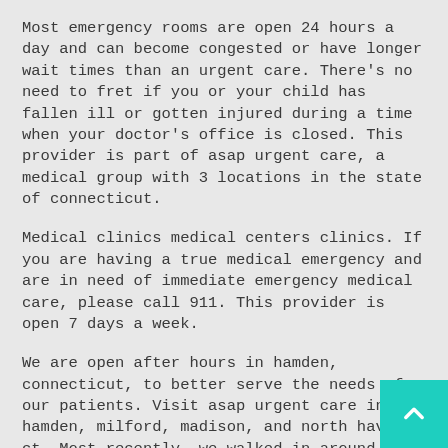Most emergency rooms are open 24 hours a day and can become congested or have longer wait times than an urgent care. There's no need to fret if you or your child has fallen ill or gotten injured during a time when your doctor's office is closed. This provider is part of asap urgent care, a medical group with 3 locations in the state of connecticut.
Medical clinics medical centers clinics. If you are having a true medical emergency and are in need of immediate emergency medical care, please call 911. This provider is open 7 days a week.
We are open after hours in hamden, connecticut, to better serve the needs of our patients. Visit asap urgent care in hamden, milford, madison, and north haven ct. Most recently, we walked in around 7:45pm (they close at 8).
Asap urgent care is an urgent care center located at 2165 dixwell avenue hamden, ct 06514. I appreciated the fact they did not act bothered at all by our late visit and i truly believe the care provided by dr. 2200 whitney ave ste 100